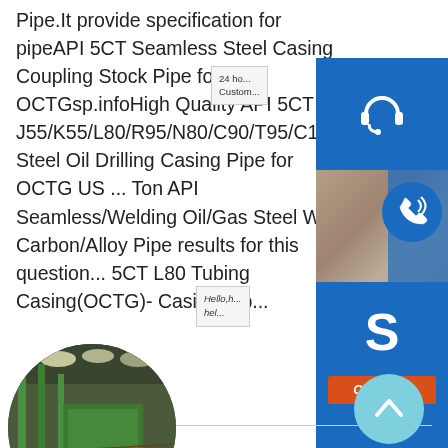Pipe.It provide specification for pipeAPI 5CT Seamless Steel Casing Coupling Stock Pipe for OCTGsp.infoHigh Quality API 5CT J55/K55/L80/R95/N80/C90/T95/C110/... Steel Oil Drilling Casing Pipe for OCTG US ... Ton API Seamless/Welding Oil/Gas Steel W... Carbon/Alloy Pipe results for this question... 5CT L80 Tubing Casing(OCTG)- Casing Pip...
[Figure (screenshot): Customer service sidebar widgets: 24hr customer support icon (blue), phone/call icon (blue) with lady photo, Skype icon (blue) with Hello/help text and Chat Now button (orange)]
[Figure (photo): Circular photo of an industrial pipe/steel manufacturing facility interior showing green metal framework, overhead lighting, and pipe conveyors]
[Figure (other): Light blue circular scroll-to-top button with upward chevron arrow]